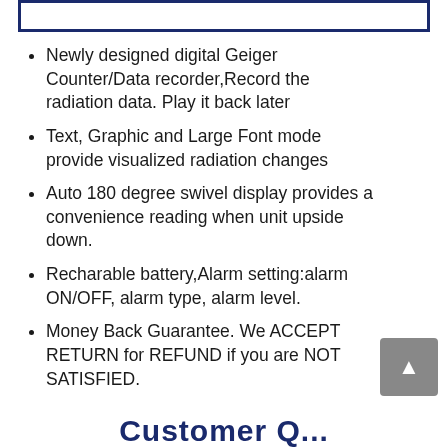[Figure (other): Top bordered box with partial product image/button visible at top edge]
Newly designed digital Geiger Counter/Data recorder,Record the radiation data. Play it back later
Text, Graphic and Large Font mode provide visualized radiation changes
Auto 180 degree swivel display provides a convenience reading when unit upside down.
Recharable battery,Alarm setting:alarm ON/OFF, alarm type, alarm level.
Money Back Guarantee. We ACCEPT RETURN for REFUND if you are NOT SATISFIED.
Customer Q...